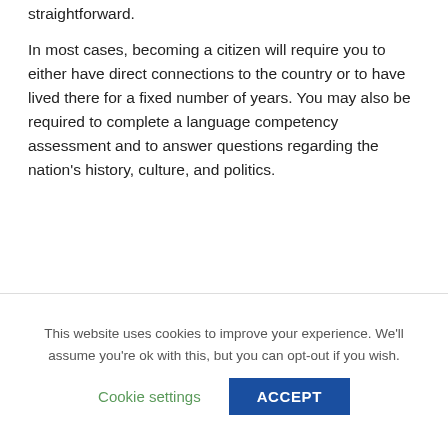straightforward.
In most cases, becoming a citizen will require you to either have direct connections to the country or to have lived there for a fixed number of years. You may also be required to complete a language competency assessment and to answer questions regarding the nation's history, culture, and politics.
Do I Have To Live in a Country to Gain
This website uses cookies to improve your experience. We'll assume you're ok with this, but you can opt-out if you wish.
Cookie settings   ACCEPT